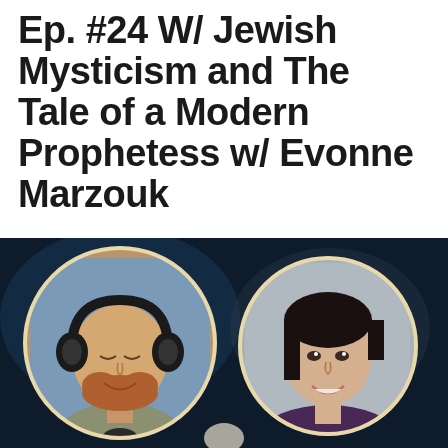Ep. #24 W/ Jewish Mysticism and The Tale of a Modern Prophetess w/ Evonne Marzouk
[Figure (photo): Podcast episode thumbnail showing two people in circular portrait frames against a dark background. Left: a bald man with a reddish beard wearing over-ear headphones and smiling. Right: a woman with dark hair smiling, wearing a dark top.]